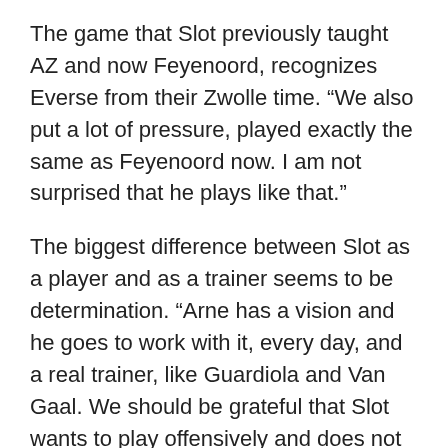The game that Slot previously taught AZ and now Feyenoord, recognizes Everse from their Zwolle time. “We also put a lot of pressure, played exactly the same as Feyenoord now. I am not surprised that he plays like that.”
The biggest difference between Slot as a player and as a trainer seems to be determination. “Arne has a vision and he goes to work with it, every day, and a real trainer, like Guardiola and Van Gaal. We should be grateful that Slot wants to play offensively and does not collapse.”
In addition to compliments on how he lets his teams play, compliments are pouring in on Slot as a person. Slot is a warm, friendly man, it sounds. “A good person”, according to Van Polen. Someone who is visibly having fun and rarely seems tense. A little joke here and there at the press